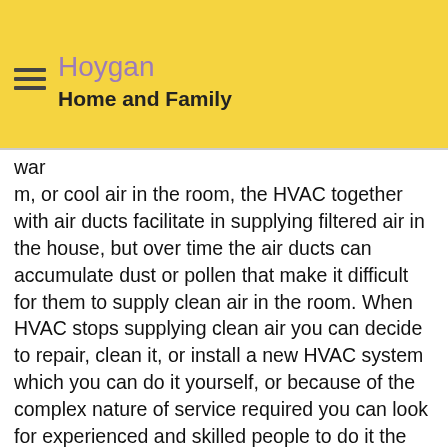Hoygan
Home and Family
war
m, or cool air in the room, the HVAC together with air ducts facilitate in supplying filtered air in the house, but over time the air ducts can accumulate dust or pollen that make it difficult for them to supply clean air in the room. When HVAC stops supplying clean air you can decide to repair, clean it, or install a new HVAC system which you can do it yourself, or because of the complex nature of service required you can look for experienced and skilled people to do it the right job this is why you need to lease the services of reputable HVAC cleaning service company. There are plenty of HVAC cleaning service companies available today making it easy to enjoy their services but singling out the most reliable